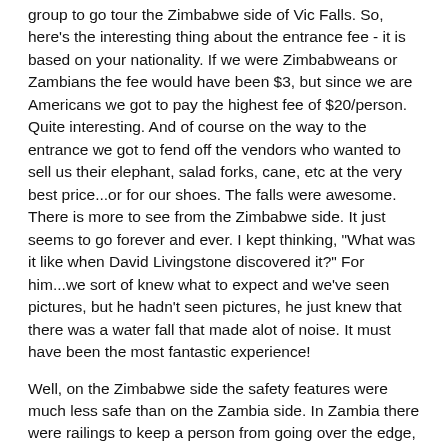group to go tour the Zimbabwe side of Vic Falls. So, here's the interesting thing about the entrance fee - it is based on your nationality. If we were Zimbabweans or Zambians the fee would have been $3, but since we are Americans we got to pay the highest fee of $20/person. Quite interesting. And of course on the way to the entrance we got to fend off the vendors who wanted to sell us their elephant, salad forks, cane, etc at the very best price...or for our shoes. The falls were awesome. There is more to see from the Zimbabwe side. It just seems to go forever and ever. I kept thinking, "What was it like when David Livingstone discovered it?" For him...we sort of knew what to expect and we've seen pictures, but he hadn't seen pictures, he just knew that there was a water fall that made alot of noise. It must have been the most fantastic experience!
Well, on the Zimbabwe side the safety features were much less safe than on the Zambia side. In Zambia there were railings to keep a person from going over the edge, but in Zim. there were woven thorns at the edge. So, we figured it's like the introductory pain before the real pain if you end up going over. Then at the very end of the path is danger point. Danger Point is an outcropping of rocks and there is NO protective barriers there just one little sign that says not to go beyond that point (ha,ha). All our pictures from there are from beyond that point. Standing there you can see across to Zambia and down to rafters who are rafting in the water that comes off the falls. Beautiful,